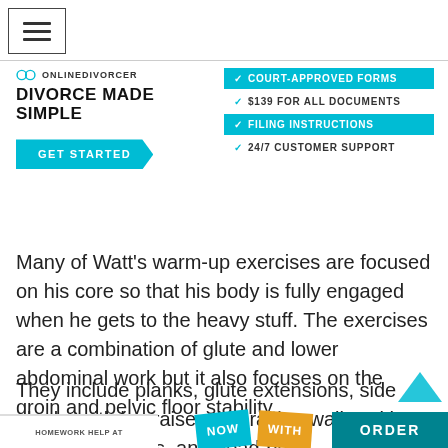☰ (hamburger menu)
[Figure (screenshot): Online Divorcer advertisement banner with logo, tagline 'DIVORCE MADE SIMPLE', GET STARTED button, and checklist of features: Court-Approved Forms, $139 For All Documents, Filing Instructions, 24/7 Customer Support]
Many of Watt's warm-up exercises are focused on his core so that his body is fully engaged when he gets to the heavy stuff. The exercises are a combination of glute and lower abdominal work but it also focuses on the groin and pelvic floor stability.
They include planks, glute extensions, side planks with leg raises, lateral leg walks with bands, bird-dogs, and dead-bugs.
[Figure (other): Bottom advertisement strip with 'HOMEWORK HELP AT', 'NOW', 'WITH', and 'ORDER' text blocks in teal/cyan and orange colors]